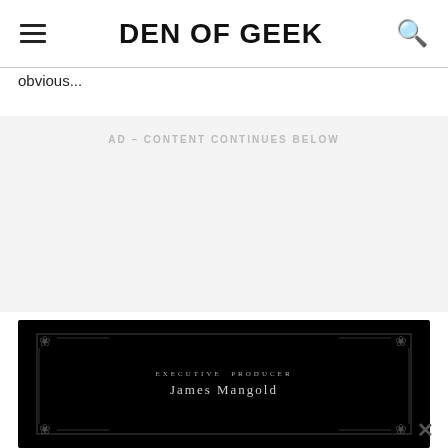DEN OF GEEK
obvious...
AD – CONTENT CONTINUES BELOW
[Figure (screenshot): Black movie credits screen showing 'EXECUTIVE PRODUCER James Mangold' with ornate decorative border corners on black background]
×